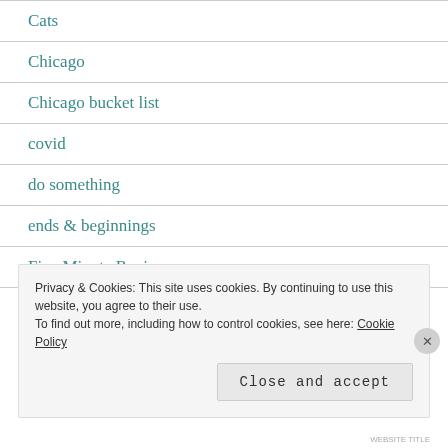Cats
Chicago
Chicago bucket list
covid
do something
ends & beginnings
Five Minute Reviews
Privacy & Cookies: This site uses cookies. By continuing to use this website, you agree to their use.
To find out more, including how to control cookies, see here: Cookie Policy
Close and accept